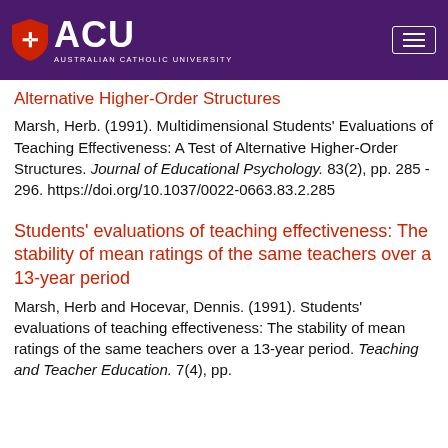ACU — Australian Catholic University
Alternative Higher-Order Structures
Marsh, Herb. (1991). Multidimensional Students' Evaluations of Teaching Effectiveness: A Test of Alternative Higher-Order Structures. Journal of Educational Psychology. 83(2), pp. 285 - 296. https://doi.org/10.1037/0022-0663.83.2.285
Students' evaluations of teaching effectiveness: The stability of mean ratings of the same teachers over a 13-year period
Marsh, Herb and Hocevar, Dennis. (1991). Students' evaluations of teaching effectiveness: The stability of mean ratings of the same teachers over a 13-year period. Teaching and Teacher Education. 7(4), pp.